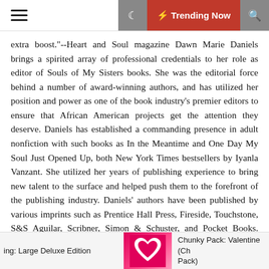☰  🌙  ⚡ Trending Now  🔍
extra boost."--Heart and Soul magazine Dawn Marie Daniels brings a spirited array of professional credentials to her role as editor of Souls of My Sisters books. She was the editorial force behind a number of award-winning authors, and has utilized her position and power as one of the book industry's premier editors to ensure that African American projects get the attention they deserve. Daniels has established a commanding presence in adult nonfiction with such books as In the Meantime and One Day My Soul Just Opened Up, both New York Times bestsellers by Iyanla Vanzant. She utilized her years of publishing experience to bring new talent to the surface and helped push them to the forefront of the publishing industry. Daniels' authors have been published by various imprints such as Prentice Hall Press, Fireside, Touchstone, S&S Aguilar, Scribner, Simon & Schuster, and Pocket Books. Candace Sandy is the President of Candace Sandy Communications, a multimedia cooperative targeting women. For over ten years, Sandy has also served as the communications director for Chairman Congressman
ing: Large Deluxe Edition   [book image]   Chunky Pack: Valentine (Ch Pack)